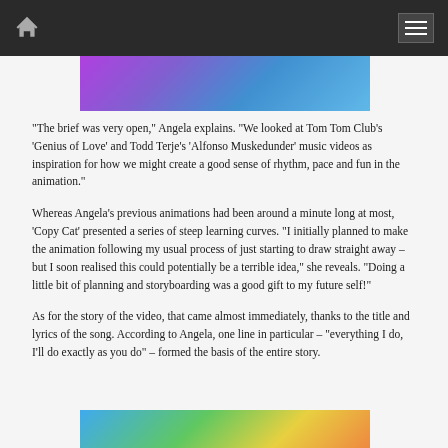Home | Menu
[Figure (photo): Colorful gradient banner image with purple, blue and magenta tones at the top of the article]
“The brief was very open,” Angela explains. “We looked at Tom Tom Club’s ‘Genius of Love’ and Todd Terje’s ‘Alfonso Muskedunder’ music videos as inspiration for how we might create a good sense of rhythm, pace and fun in the animation.”
Whereas Angela’s previous animations had been around a minute long at most, ‘Copy Cat’ presented a series of steep learning curves. “I initially planned to make the animation following my usual process of just starting to draw straight away – but I soon realised this could potentially be a terrible idea,” she reveals. “Doing a little bit of planning and storyboarding was a good gift to my future self!”
As for the story of the video, that came almost immediately, thanks to the title and lyrics of the song. According to Angela, one line in particular – “everything I do, I’ll do exactly as you do” – formed the basis of the entire story.
[Figure (illustration): Colorful cartoon illustration at the bottom of the page with characters in blue, green, yellow and pink tones]